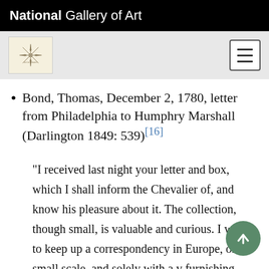National Gallery of Art
[Figure (logo): National Gallery of Art logo with star/compass icon and hamburger menu button]
Bond, Thomas, December 2, 1780, letter from Philadelphia to Humphry Marshall (Darlington 1849: 539)[16]
"I received last night your letter and box, which I shall inform the Chevalier of, and know his pleasure about it. The collection, though small, is valuable and curious. I wish to keep up a correspondency in Europe, on a small scale, and solely with a v... furnishing each country, reciprocally, with such